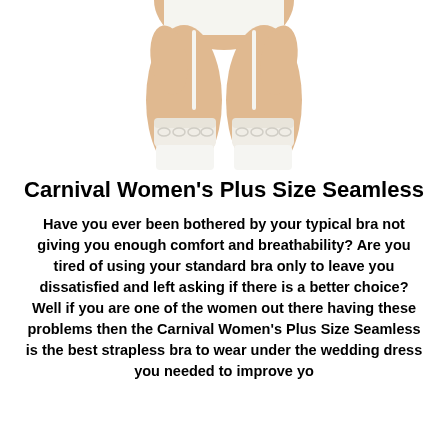[Figure (photo): Photo of a woman's lower body wearing white lingerie and white lace stockings with suspenders/garter straps]
Carnival Women's Plus Size Seamless
Have you ever been bothered by your typical bra not giving you enough comfort and breathability? Are you tired of using your standard bra only to leave you dissatisfied and left asking if there is a better choice? Well if you are one of the women out there having these problems then the Carnival Women's Plus Size Seamless is the best strapless bra to wear under the wedding dress you needed to improve yo…